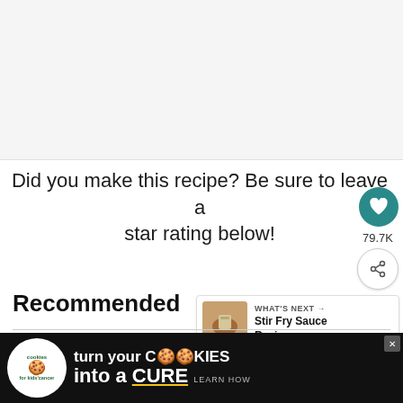[Figure (photo): Blank/empty image placeholder area at the top of the page]
Did you make this recipe? Be sure to leave a star rating below!
79.7K
Recommended
WHAT'S NEXT → Stir Fry Sauce Recipe
[Figure (photo): Teriyaki sauce recipe card image]
Teriyaki Sauce
[Figure (infographic): Advertisement banner: cookies for kids cancer — turn your COOKIES into a CURE LEARN HOW]